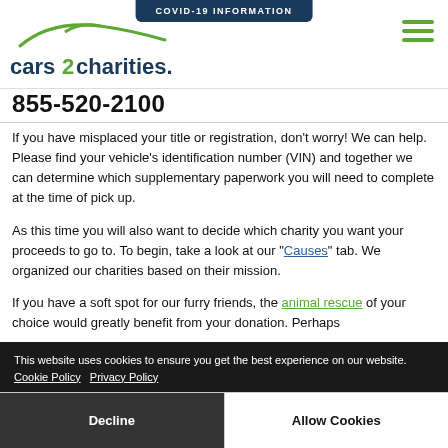COVID-19 INFORMATION
[Figure (logo): cars2charities logo with green swoosh car silhouette above text]
855-520-2100
If you have misplaced your title or registration, don't worry! We can help. Please find your vehicle's identification number (VIN) and together we can determine which supplementary paperwork you will need to complete at the time of pick up.
As this time you will also want to decide which charity you want your proceeds to go to. To begin, take a look at our "Causes" tab. We organized our charities based on their mission.
If you have a soft spot for our furry friends, the animal rescue of your choice would greatly benefit from your donation. Perhaps
This website uses cookies to ensure you get the best experience on our website. Cookie Policy   Privacy Policy
Decline   Allow Cookies